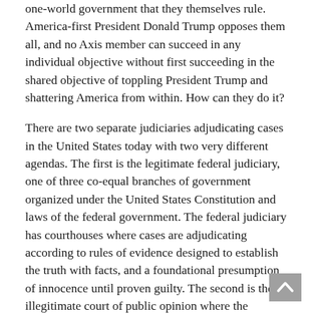one-world government that they themselves rule. America-first President Donald Trump opposes them all, and no Axis member can succeed in any individual objective without first succeeding in the shared objective of toppling President Trump and shattering America from within. How can they do it?
There are two separate judiciaries adjudicating cases in the United States today with two very different agendas. The first is the legitimate federal judiciary, one of three co-equal branches of government organized under the United States Constitution and laws of the federal government. The federal judiciary has courthouses where cases are adjudicating according to rules of evidence designed to establish the truth with facts, and a foundational presumption of innocence until proven guilty. The second is the illegitimate court of public opinion where the humanitarian hucksters try their cases on the Internet and in the entertainment media without regard for truth or facts and without the Constitutional presumption of innocence. Why?
The goal of the court of public opinion is mass social engineering. What this means is that the Leftist/Islamist/Globalist axis is cooperating in their shared